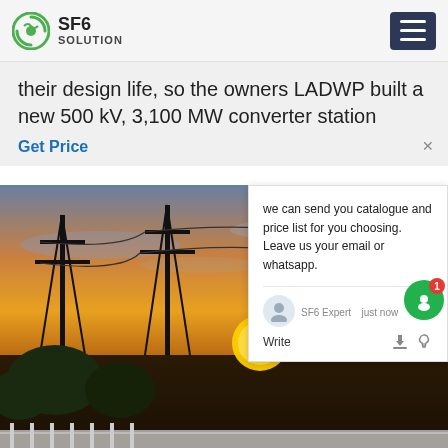SF6 SOLUTION
their design life, so the owners LADWP built a new 500 kV, 3,100 MW converter station
Get Price
[Figure (photo): Electrical power substation at sunset with transmission towers and power lines]
we can send you catalogue and price list for you choosing. Leave us your email or whatsapp.
SF6 Expert   just now
Write